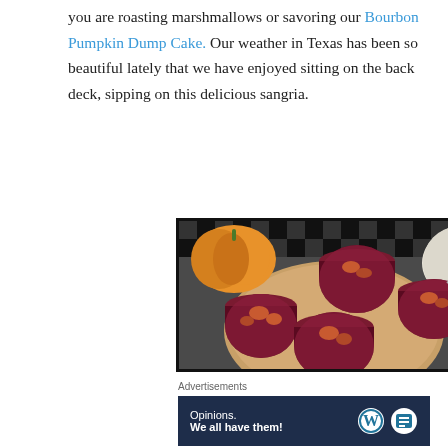you are roasting marshmallows or savoring our Bourbon Pumpkin Dump Cake. Our weather in Texas has been so beautiful lately that we have enjoyed sitting on the back deck, sipping on this delicious sangria.
[Figure (photo): Three glasses of dark red sangria with fruit pieces, arranged on a wooden board, with orange and white pumpkins in the background on a black and white checkered surface.]
Advertisements
[Figure (screenshot): Advertisement banner with dark navy background reading 'Opinions. We all have them!' with WordPress logo and another circular logo on the right.]